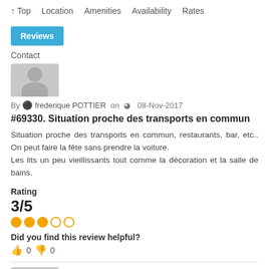↑ Top  Location  Amenities  Availability  Rates  Reviews  Contact
[Figure (illustration): Partial gray avatar/profile image cropped at top]
By frederique POTTIER on 08-Nov-2017
#69330. Situation proche des transports en commun
Situation proche des transports en commun, restaurants, bar, etc.. On peut faire la fête sans prendre la voiture.
Les lits un peu vieillissants tout comme la décoration et la salle de bains.
Rating
3/5
Did you find this review helpful?
👍 0  👎 0
[Figure (illustration): Partial gray avatar/profile image at bottom, partially cut off]